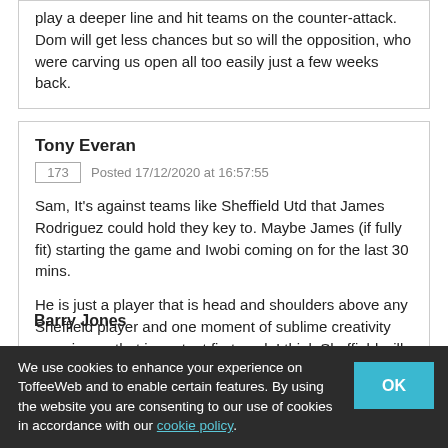play a deeper line and hit teams on the counter-attack. Dom will get less chances but so will the opposition, who were carving us open all too easily just a few weeks back.
Tony Everan
173  Posted 17/12/2020 at 16:57:55
Sam, It's against teams like Sheffield Utd that James Rodriguez could hold they key to. Maybe James (if fully fit) starting the game and Iwobi coming on for the last 30 mins.
He is just a player that is head and shoulders above any Sheffield player and one moment of sublime creativity can give us that important first goal. I think Sheffield will find us hard to break down if we go ahead.
Barry Jones
We use cookies to enhance your experience on ToffeeWeb and to enable certain features. By using the website you are consenting to our use of cookies in accordance with our cookie policy.